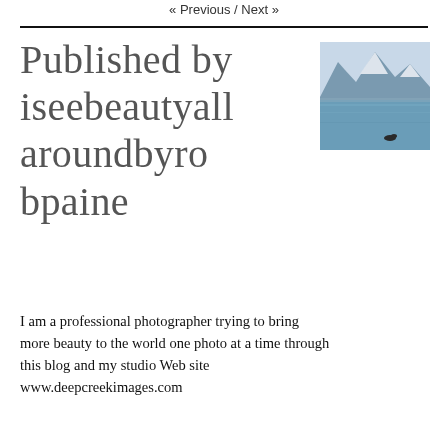« Previous / Next »
Published by iseebeautyallaroundbyrobpaine
[Figure (photo): Landscape photo showing a calm lake with snow-capped mountains in the background and a bird on the water]
I am a professional photographer trying to bring more beauty to the world one photo at a time through this blog and my studio Web site www.deepcreekimages.com